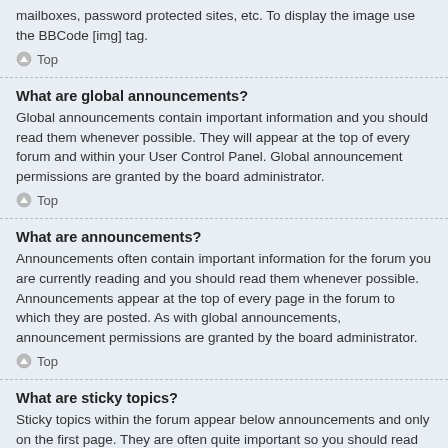mailboxes, password protected sites, etc. To display the image use the BBCode [img] tag.
Top
What are global announcements?
Global announcements contain important information and you should read them whenever possible. They will appear at the top of every forum and within your User Control Panel. Global announcement permissions are granted by the board administrator.
Top
What are announcements?
Announcements often contain important information for the forum you are currently reading and you should read them whenever possible. Announcements appear at the top of every page in the forum to which they are posted. As with global announcements, announcement permissions are granted by the board administrator.
Top
What are sticky topics?
Sticky topics within the forum appear below announcements and only on the first page. They are often quite important so you should read them whenever possible. As with announcements and global announcements, sticky topic permissions are granted